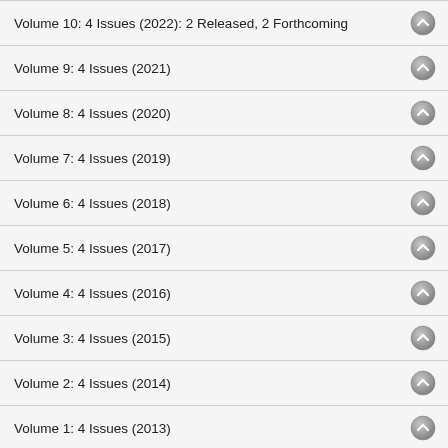Volume 10: 4 Issues (2022): 2 Released, 2 Forthcoming
Volume 9: 4 Issues (2021)
Volume 8: 4 Issues (2020)
Volume 7: 4 Issues (2019)
Volume 6: 4 Issues (2018)
Volume 5: 4 Issues (2017)
Volume 4: 4 Issues (2016)
Volume 3: 4 Issues (2015)
Volume 2: 4 Issues (2014)
Volume 1: 4 Issues (2013)
View Complete Journal Contents Listing
Learn More
About IGI Global | Partnerships | COPE Membership | Contact | Job